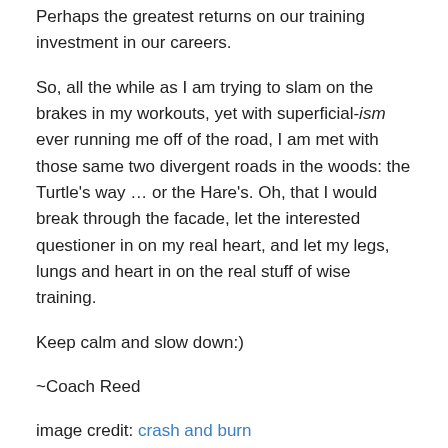Perhaps the greatest returns on our training investment in our careers.
So, all the while as I am trying to slam on the brakes in my workouts, yet with superficial-ism ever running me off of the road, I am met with those same two divergent roads in the woods: the Turtle's way … or the Hare's. Oh, that I would break through the facade, let the interested questioner in on my real heart, and let my legs, lungs and heart in on the real stuff of wise training.
Keep calm and slow down:)
~Coach Reed
image credit: crash and burn
Share this: